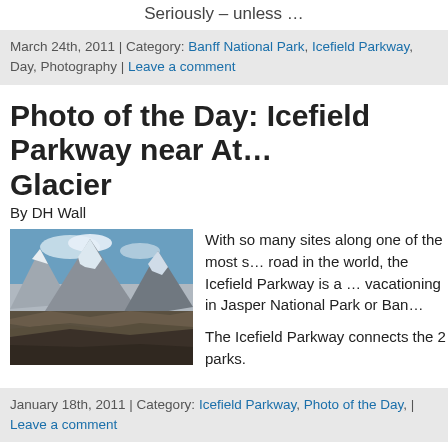Seriously – unless …
March 24th, 2011 | Category: Banff National Park, Icefield Parkway, Day, Photography | Leave a comment
Photo of the Day: Icefield Parkway near At… Glacier
By DH Wall
[Figure (photo): Mountain landscape photo showing snow-capped rocky peaks with glacial terrain below, taken along the Icefield Parkway]
With so many sites along one of the most scenic road in the world, the Icefield Parkway is a … vacationing in Jasper National Park or Ban…
The Icefield Parkway connects the 2 parks.
January 18th, 2011 | Category: Icefield Parkway, Photo of the Day, | Leave a comment
A White-crowned Sparrow in Jasper Nation…
By DH Wall
[Figure (photo): White-crowned sparrow bird photo (partially visible)]
The white-crowned sparrow is quite commo…